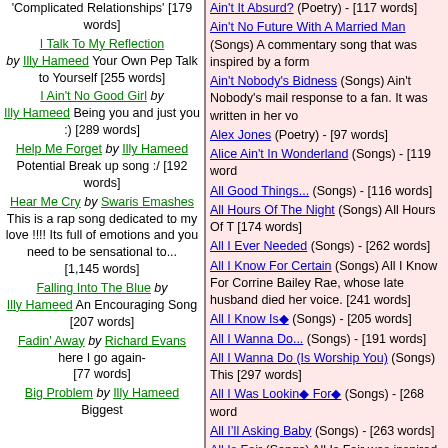'Complicated Relationships' [179 words]
I Talk To My Reflection by Illy Hameed Your Own Pep Talk to Yourself [255 words]
I Ain't No Good Girl by Illy Hameed Being you and just you :) [289 words]
Help Me Forget by Illy Hameed Potential Break up song :/ [192 words]
Hear Me Cry by Swaris Emashes This is a rap song dedicated to my love !!!! Its full of emotions and you need to be sensational to... [1,145 words]
Falling Into The Blue by Illy Hameed An Encouraging Song [207 words]
Fadin' Away by Richard Evans here I go again- [77 words]
Big Problem by Illy Hameed Biggest
Ain't It Absurd? (Poetry) - [117 words]
Ain't No Future With A Married Man (Songs) A commentary song that was inspired by a form
Ain't Nobody's Bidness (Songs) Ain't Nobody's mail response to a fan. It was written in her vo
Alex Jones (Poetry) - [97 words]
Alice Ain't In Wonderland (Songs) - [119 words]
All Good Things... (Songs) - [116 words]
All Hours Of The Night (Songs) All Hours Of T [174 words]
All I Ever Needed (Songs) - [262 words]
All I Know For Certain (Songs) All I Know For Corrine Bailey Rae, whose late husband died her voice. [241 words]
All I Know Is (Songs) - [205 words]
All I Wanna Do... (Songs) - [191 words]
All I Wanna Do (Is Worship You) (Songs) This [297 words]
All I Was Lookin' For' (Songs) - [268 words]
All I'll Asking Baby (Songs) - [263 words]
All Is Fair (Songs) All Is Fair was inspired by would sing. [236 words]
All Kinds Of Thoughts (Songs) All Kinds Of Th voice. It recounts a near death experience she
All Lives Matter (Poetry) - [133 words]
All Night Long (All Night) (Songs) All Night Lo